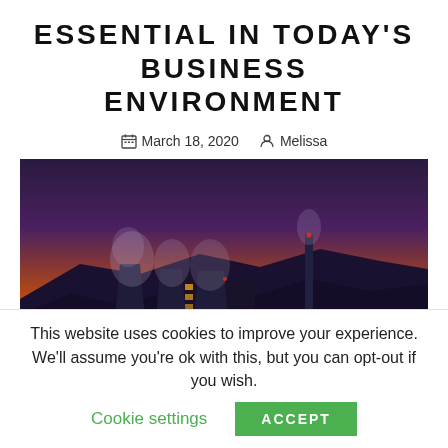ESSENTIAL IN TODAY'S BUSINESS ENVIRONMENT
March 18, 2020   Melissa
[Figure (photo): Industrial power plant with cooling towers emitting steam against a dramatic orange and purple sunset sky, with mountains in the background and bright facility lights in the foreground.]
This website uses cookies to improve your experience. We'll assume you're ok with this, but you can opt-out if you wish.
Cookie settings   ACCEPT